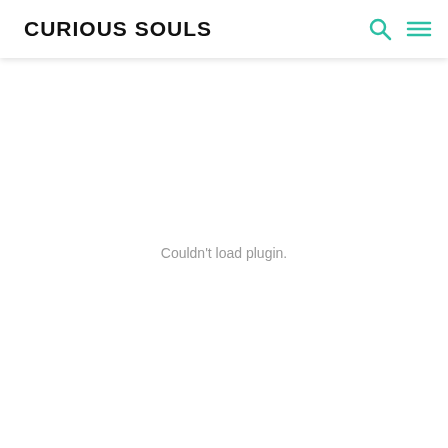CURIOUS SOULS
Couldn't load plugin.